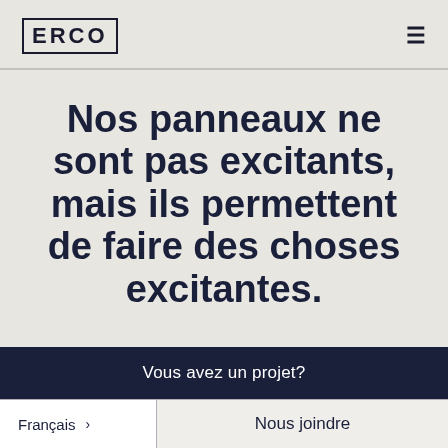ERCO
Nos panneaux ne sont pas excitants, mais ils permettent de faire des choses excitantes.
Vous avez un projet?
Nous joindre
Français >